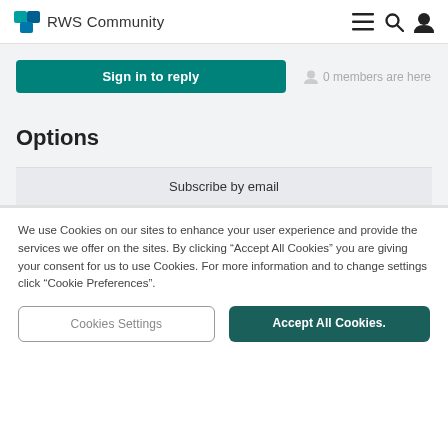RWS Community
Sign in to reply
0 members are here
Options
Subscribe by email
We use Cookies on our sites to enhance your user experience and provide the services we offer on the sites. By clicking “Accept All Cookies” you are giving your consent for us to use Cookies. For more information and to change settings click “Cookie Preferences”.
Cookies Settings
Accept All Cookies.